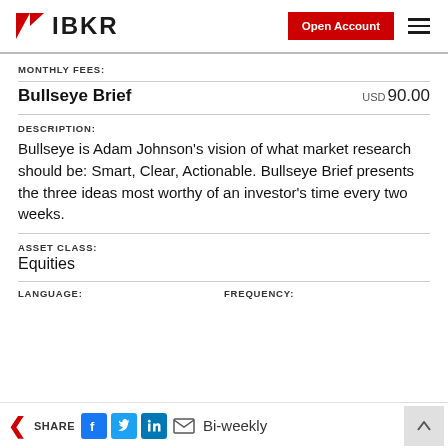IBKR — Open Account
MONTHLY FEES:
Bullseye Brief   USD 90.00
DESCRIPTION:
Bullseye is Adam Johnson's vision of what market research should be: Smart, Clear, Actionable. Bullseye Brief presents the three ideas most worthy of an investor's time every two weeks.
ASSET CLASS:
Equities
LANGUAGE:
FREQUENCY:
Bi-weekly